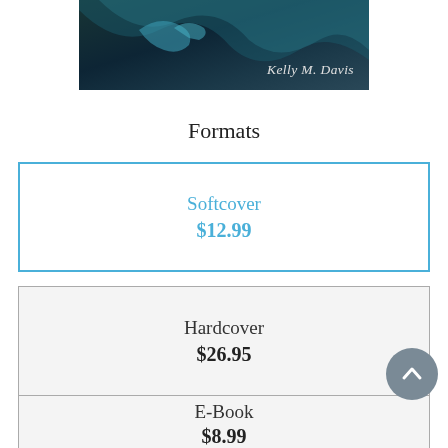[Figure (photo): Partial book cover image showing dark teal/navy background with a swoosh element and author name 'Kelly M. Davis' in light italic text at the bottom right.]
Formats
| Format | Price |
| --- | --- |
| Softcover | $12.99 |
| Hardcover | $26.95 |
| E-Book | $8.99 |